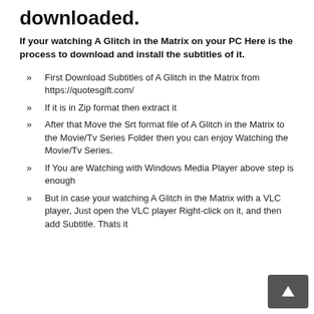downloaded.
If your watching A Glitch in the Matrix on your PC Here is the process to download and install the subtitles of it.
First Download Subtitles of A Glitch in the Matrix from https://quotesgift.com/
If it is in Zip format then extract it
After that Move the Srt format file of A Glitch in the Matrix to the Movie/Tv Series Folder then you can enjoy Watching the Movie/Tv Series.
If You are Watching with Windows Media Player above step is enough
But in case your watching A Glitch in the Matrix with a VLC player, Just open the VLC player Right-click on it, and then add Subtitle. Thats it